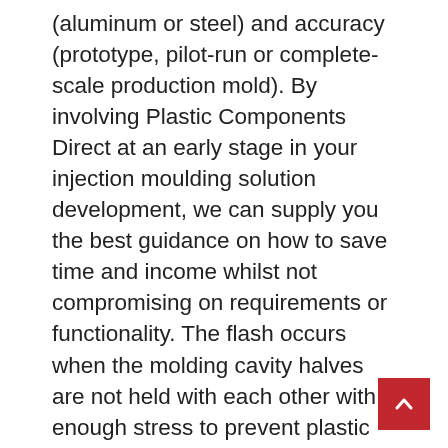(aluminum or steel) and accuracy (prototype, pilot-run or complete-scale production mold). By involving Plastic Components Direct at an early stage in your injection moulding solution development, we can supply you the best guidance on how to save time and income whilst not compromising on requirements or functionality. The flash occurs when the molding cavity halves are not held with each other with enough stress to prevent plastic from escaping the mold and cooling. With the expanding international market, several injection molding service businesses have identified methods via technologies and processes and top quality systems such as ISO-9000, to drastically decrease the cost of tooling and parts. 11 ;six Other considerations when